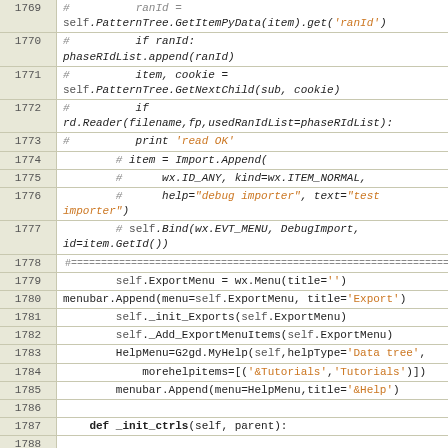[Figure (screenshot): Source code listing showing Python code lines 1769–1791 with line numbers in left column and code in right column, using monospace italic font with syntax highlighting in orange/blue for strings and numbers.]